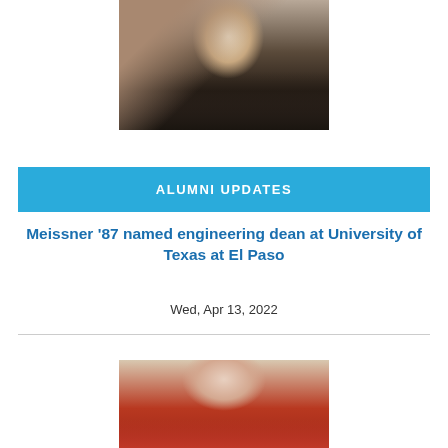[Figure (photo): Portrait photo of a man in a dark suit and tie, standing outdoors in front of a building]
ALUMNI UPDATES
Meissner '87 named engineering dean at University of Texas at El Paso
Wed, Apr 13, 2022
[Figure (photo): Portrait photo of a woman with short dark hair, wearing a red outfit, smiling]